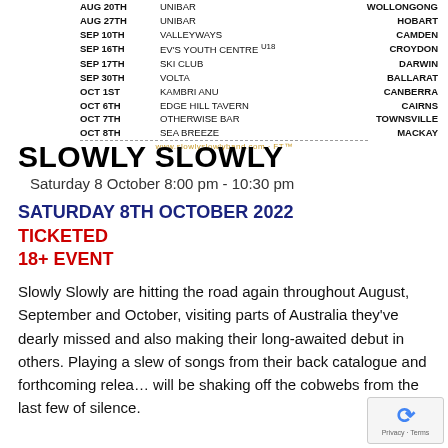| Date | Venue | City |
| --- | --- | --- |
| AUG 20TH | UNIBAR | WOLLONGONG |
| AUG 27TH | UNIBAR | HOBART |
| SEP 10TH | VALLEYWAYS | CAMDEN |
| SEP 16TH | EV'S YOUTH CENTRE U18 | CROYDON |
| SEP 17TH | SKI CLUB | DARWIN |
| SEP 30TH | VOLTA | BALLARAT |
| OCT 1ST | KAMBRI ANU | CANBERRA |
| OCT 6TH | EDGE HILL TAVERN | CAIRNS |
| OCT 7TH | OTHERWISE BAR | TOWNSVILLE |
| OCT 8TH | SEA BREEZE | MACKAY |
SLOWLY SLOWLY
Saturday 8 October 8:00 pm - 10:30 pm
SATURDAY 8TH OCTOBER 2022
TICKETED
18+ EVENT
Slowly Slowly are hitting the road again throughout August, September and October, visiting parts of Australia they've dearly missed and also making their long-awaited debut in others. Playing a slew of songs from their back catalogue and forthcoming release, will be shaking off the cobwebs from the last few years of silence.